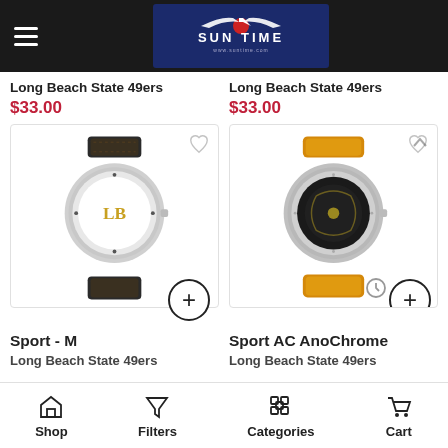Sun Time - www.suntime.com
Long Beach State 49ers
$33.00
Long Beach State 49ers
$33.00
[Figure (photo): Sport - M watch with black leather band and white face showing LB logo, Long Beach State 49ers]
[Figure (photo): Sport AC AnoChrome watch with yellow/gold rubber band and black face, Long Beach State 49ers]
Sport - M
Long Beach State 49ers
Sport AC AnoChrome
Long Beach State 49ers
Shop  Filters  Categories  Cart